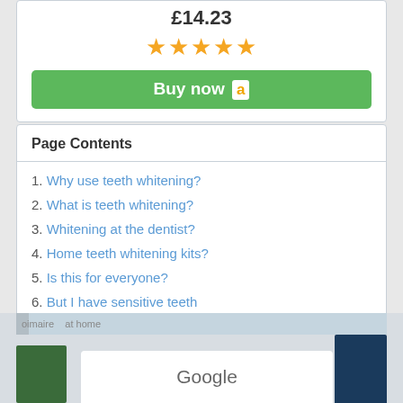£14.23
[Figure (other): Five gold star rating]
[Figure (other): Buy now Amazon button (green)]
Page Contents
1. Why use teeth whitening?
2. What is teeth whitening?
3. Whitening at the dentist?
4. Home teeth whitening kits?
5. Is this for everyone?
6. But I have sensitive teeth
Covering LN13 0
[Figure (screenshot): Partial screenshot showing Google search interface at the bottom]